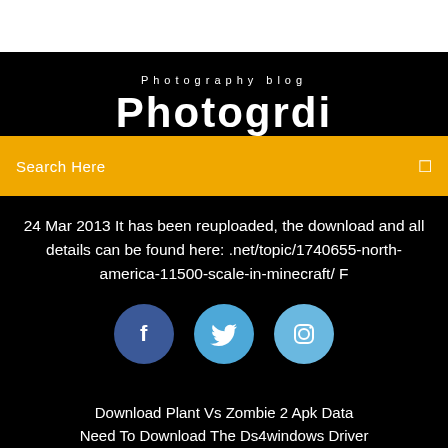Photography blog
Ph...ot...og...r...di...
Search Here
24 Mar 2013 It has been reuploaded, the download and all details can be found here: .net/topic/1740655-north-america-11500-scale-in-minecraft/ F
[Figure (illustration): Three social media icon circles: Facebook (dark blue), Twitter (medium blue), Instagram (light blue)]
Download Plant Vs Zombie 2 Apk Data
Need To Download The Ds4windows Driver